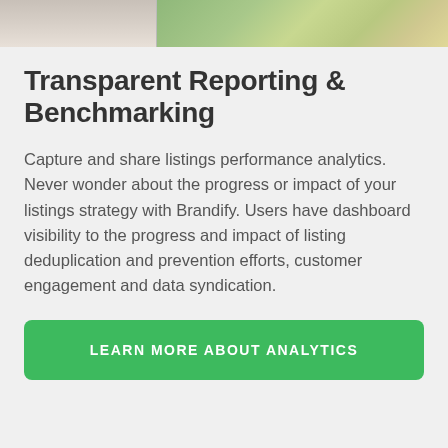[Figure (photo): Top portion of a webpage screenshot showing a partial photo of what appears to be a laptop/device and a map interface on the right side]
Transparent Reporting & Benchmarking
Capture and share listings performance analytics. Never wonder about the progress or impact of your listings strategy with Brandify. Users have dashboard visibility to the progress and impact of listing deduplication and prevention efforts, customer engagement and data syndication.
LEARN MORE ABOUT ANALYTICS